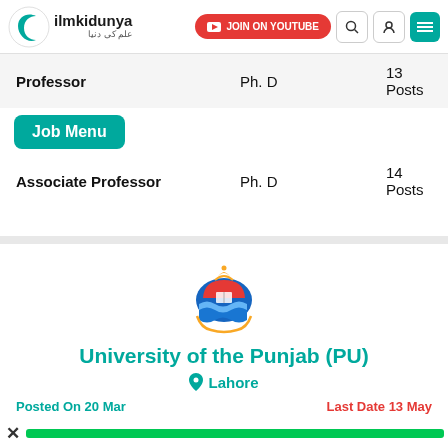[Figure (screenshot): ilmkidunya website header with logo, YouTube join button, search icon, user icon, and menu icon]
| Position | Qualification | Vacancies |
| --- | --- | --- |
| Professor | Ph. D | 13 Posts |
| Associate Professor | Ph. D | 14 Posts |
[Figure (logo): University of the Punjab coat of arms / crest logo]
University of the Punjab (PU)
Lahore
Posted On 20 Mar
Last Date 13 May
[Figure (screenshot): Advertisement banner: DENER USA - Fiber Laser Cutting with OPEN button]